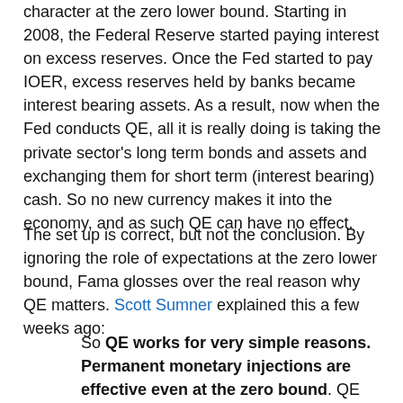character at the zero lower bound. Starting in 2008, the Federal Reserve started paying interest on excess reserves. Once the Fed started to pay IOER, excess reserves held by banks became interest bearing assets. As a result, now when the Fed conducts QE, all it is really doing is taking the private sector's long term bonds and assets and exchanging them for short term (interest bearing) cash. So no new currency makes it into the economy, and as such QE can have no effect.
The set up is correct, but not the conclusion. By ignoring the role of expectations at the zero lower bound, Fama glosses over the real reason why QE matters. Scott Sumner explained this a few weeks ago:
So QE works for very simple reasons. Permanent monetary injections are effective even at the zero bound. QE programs are a signal that central banks would prefer at least slightly faster nominal GDP growth. Slightly faster nominal GDP growth requires that at least a small portion of the currency injection be